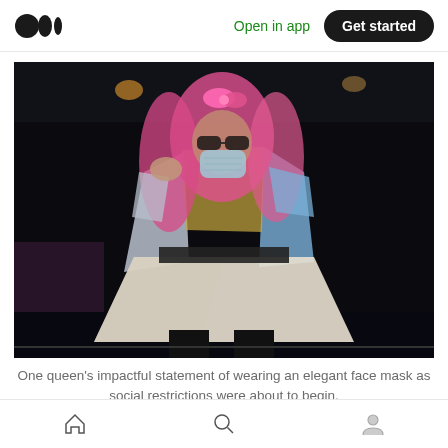Medium logo | Open in app | Get started
[Figure (photo): A drag queen performer wearing an elegant silver/metallic jacket and white flared skirt, with long pink hair and a pink bow, wearing a face mask, performing on a dark stage.]
One queen's impactful statement of wearing an elegant face mask as social restrictions were about to begin.
Home | Search | Profile icons